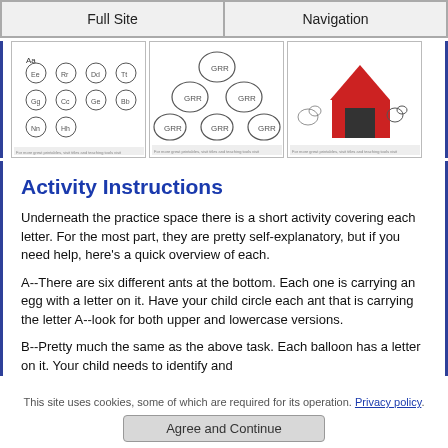Full Site | Navigation
[Figure (illustration): Three thumbnail images showing alphabet/letter activity worksheets for children: first shows various animal characters with letters, second shows elephant pyramid with letters, third shows a red house/kennel with dog and animal characters.]
Activity Instructions
Underneath the practice space there is a short activity covering each letter.  For the most part, they are pretty self-explanatory, but if you need help, here's a quick overview of each.
A--There are six different ants at the bottom.  Each one is carrying an egg with a letter on it.  Have your child circle each ant that is carrying the letter A--look for both upper and lowercase versions.
B--Pretty much the same as the above task.  Each balloon has a letter on it.  Your child needs to identify and
This site uses cookies, some of which are required for its operation. Privacy policy.
Agree and Continue